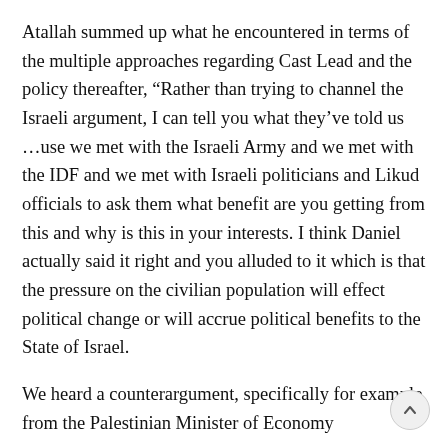Atallah summed up what he encountered in terms of the multiple approaches regarding Cast Lead and the policy thereafter, “Rather than trying to channel the Israeli argument, I can tell you what they’ve told us …because we met with the Israeli Army and we met with the IDF and we met with Israeli politicians and Likud officials to ask them what benefit are you getting from this and why is this in your interests. I think Daniel actually said it right and you alluded to it which is that the pressure on the civilian population will effect political change or will accrue political benefits to the State of Israel.
We heard a counterargument, specifically for example from the Palestinian Minister of Economy